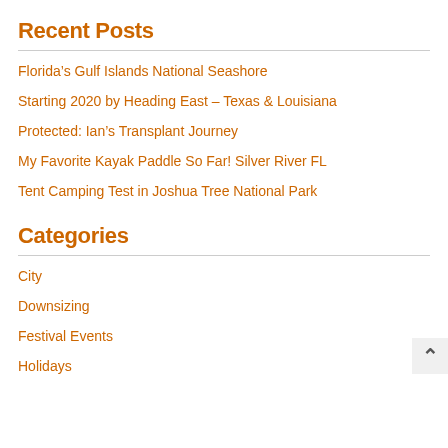Recent Posts
Florida’s Gulf Islands National Seashore
Starting 2020 by Heading East – Texas & Louisiana
Protected: Ian’s Transplant Journey
My Favorite Kayak Paddle So Far! Silver River FL
Tent Camping Test in Joshua Tree National Park
Categories
City
Downsizing
Festival Events
Holidays